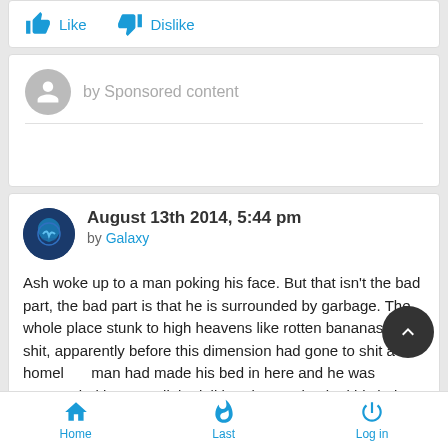[Figure (other): Like and Dislike buttons with thumbs up and thumbs down icons in blue]
by Sponsored content
August 13th 2014, 5:44 pm
by Galaxy
Ash woke up to a man poking his face. But that isn't the bad part, the bad part is that he is surrounded by garbage. The whole place stunk to high heavens like rotten bananas and shit, apparently before this dimension had gone to shit a homeless man had made his bed in here and he was surrounded by weird little doll heads. He checked his hair with his right hand, to make
Home   Last   Log in